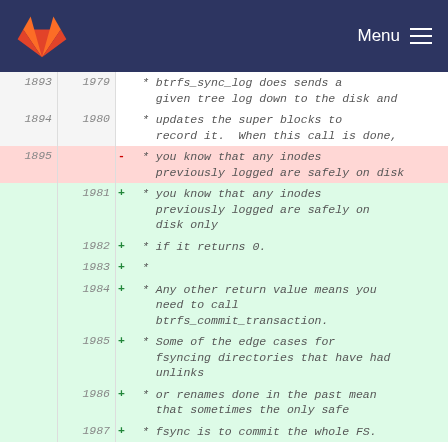GitLab — Menu
| old line | new line | change | code |
| --- | --- | --- | --- |
| 1893 | 1979 |  | * btrfs_sync_log does sends a given tree log down to the disk and |
| 1894 | 1980 |  | * updates the super blocks to record it.  When this call is done, |
| 1895 |  | - | * you know that any inodes previously logged are safely on disk |
|  | 1981 | + | * you know that any inodes previously logged are safely on disk only |
|  | 1982 | + | * if it returns 0. |
|  | 1983 | + | * |
|  | 1984 | + | * Any other return value means you need to call btrfs_commit_transaction. |
|  | 1985 | + | * Some of the edge cases for fsyncing directories that have had unlinks |
|  | 1986 | + | * or renames done in the past mean that sometimes the only safe |
|  | 1987 | + | * fsync is to commit the whole FS. |